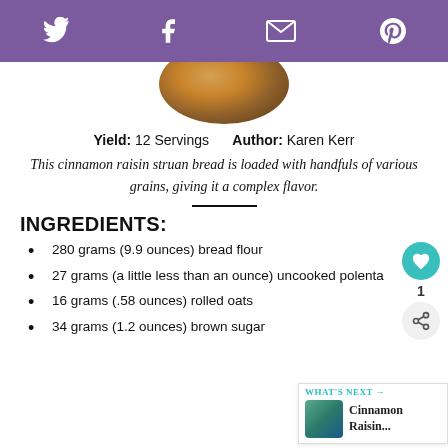Twitter, Facebook, Email, Pinterest social share bar
[Figure (photo): Circular cropped photo of cinnamon raisin struan bread, top portion visible]
Yield: 12 Servings    Author: Karen Kerr
This cinnamon raisin struan bread is loaded with handfuls of various grains, giving it a complex flavor.
INGREDIENTS:
280 grams (9.9 ounces) bread flour
27 grams (a little less than an ounce) uncooked polenta
16 grams (.58 ounces) rolled oats
34 grams (1.2 ounces) brown sugar